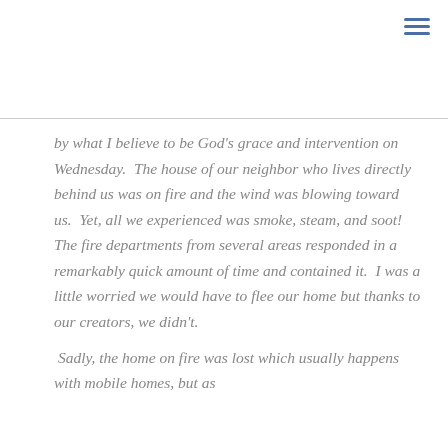[Figure (other): Hamburger menu icon made of three horizontal blue lines, positioned in top-right corner]
by what I believe to be God's grace and intervention on Wednesday.  The house of our neighbor who lives directly behind us was on fire and the wind was blowing toward us.  Yet, all we experienced was smoke, steam, and soot!  The fire departments from several areas responded in a remarkably quick amount of time and contained it.  I was a little worried we would have to flee our home but thanks to our creators, we didn't.  Sadly, the home on fire was lost which usually happens with mobile homes, but as